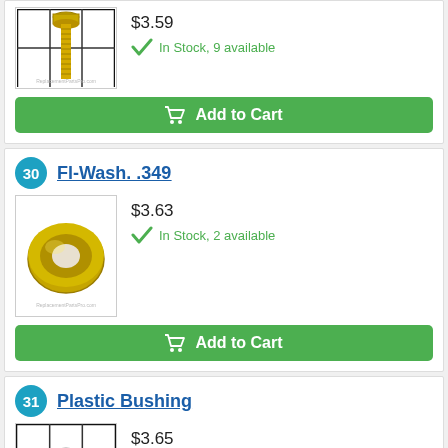$3.59
In Stock, 9 available
Add to Cart
[Figure (photo): Photo of a screw/bolt with grid background]
30
[Figure (photo): Photo of a flat washer (Fl-Wash. .349)]
Fl-Wash. .349
$3.63
In Stock, 2 available
Add to Cart
31
[Figure (photo): Photo of a plastic bushing with grid background]
Plastic Bushing
$3.65
In Stock, 25+ available